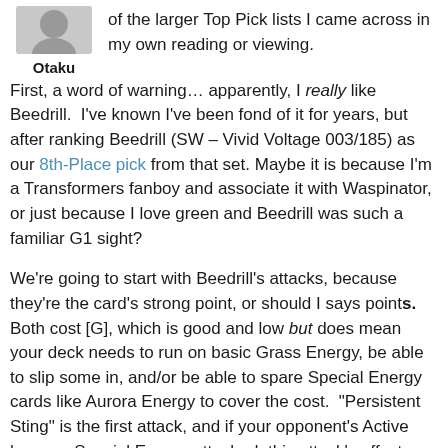[Figure (other): Avatar image of user Otaku with username label below]
of the larger Top Pick lists I came across in my own reading or viewing.  First, a word of warning… apparently, I really like Beedrill.  I've known I've been fond of it for years, but after ranking Beedrill (SW – Vivid Voltage 003/185) as our 8th-Place pick from that set. Maybe it is because I'm a Transformers fanboy and associate it with Waspinator, or just because I love green and Beedrill was such a familiar G1 sight?
We're going to start with Beedrill's attacks, because they're the card's strong point, or should I says points.  Both cost [G], which is good and low but does mean your deck needs to run on basic Grass Energy, be able to slip some in, and/or be able to spare Special Energy cards like Aurora Energy to cover the cost.  "Persistent Sting" is the first attack, and if your opponent's Active has any Special Energy attached, this attack's effect KO's it!  No damage is done at all; either your